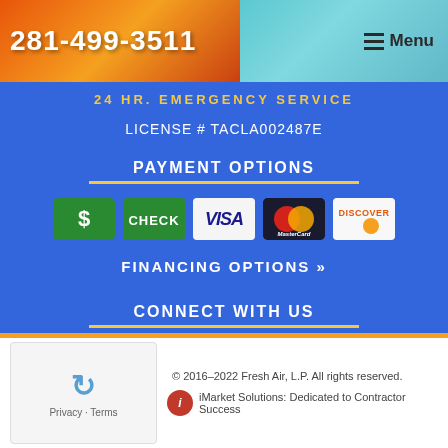281-499-3511  Menu
24 HR. EMERGENCY SERVICE
LICENSE # TACLA002487E
PAYMENT OPTIONS
[Figure (infographic): Payment method icons: Cash (dollar sign, green), Check (green), Visa (white/blue), MasterCard (dark background with red/yellow circles), Discover (white/orange)]
FINANCING OPTIONS »
CONNECT WITH US
[Figure (infographic): Social media icons: Facebook (blue square with f) and Google Maps (green square with map pin icon)]
© 2016–2022 Fresh Air, L.P. All rights reserved.
iMarket Solutions: Dedicated to Contractor Success